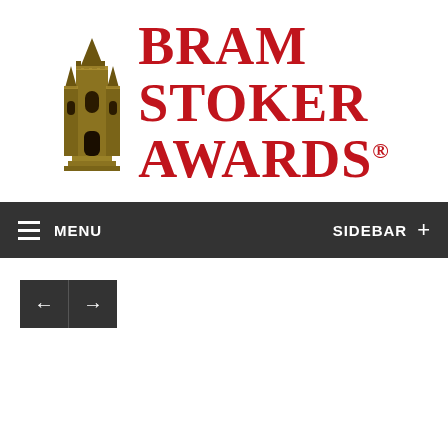[Figure (logo): Bram Stoker Awards logo with gothic castle/cathedral statue in gold on the left and red serif text reading BRAM STOKER AWARDS with registered trademark symbol on the right]
[Figure (infographic): Dark gray navigation bar with hamburger menu icon and MENU text on the left, SIDEBAR text and plus icon on the right]
[Figure (infographic): Two dark navigation arrow buttons: left arrow and right arrow]